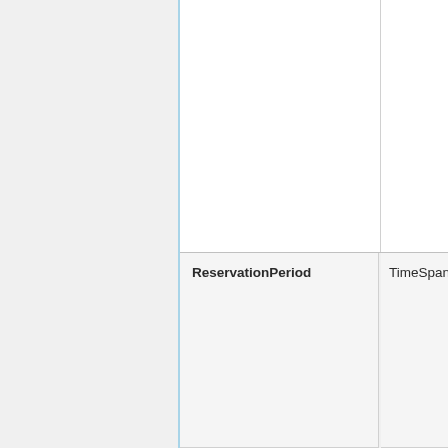|  | Name | Type |
| --- | --- | --- |
|  | ReservationPeriod | TimeSpan (d.hh:m... |